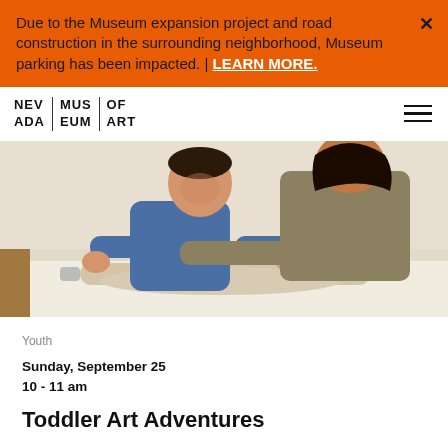Due to the Museum expansion project and road construction in the surrounding neighborhood, Museum parking has been impacted. | LEARN MORE.
[Figure (logo): Nevada Museum of Art logo in grid layout: NEV ADA | MUS EUM | OF ART]
[Figure (photo): A young boy and an adult woman rolling clay together on a white table surface in an art studio.]
Youth
Sunday, September 25
10 - 11 am
Toddler Art Adventures